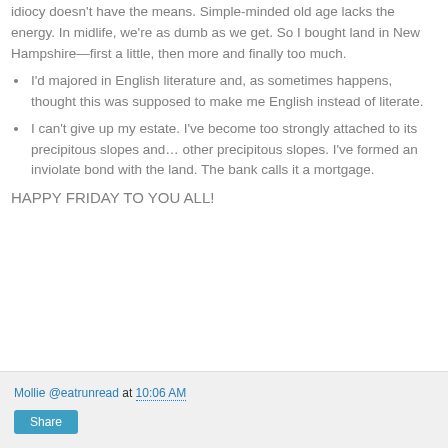idiocy doesn't have the means. Simple-minded old age lacks the energy. In midlife, we're as dumb as we get. So I bought land in New Hampshire—first a little, then more and finally too much.
I'd majored in English literature and, as sometimes happens, thought this was supposed to make me English instead of literate.
I can't give up my estate. I've become too strongly attached to its precipitous slopes and… other precipitous slopes. I've formed an inviolate bond with the land. The bank calls it a mortgage.
HAPPY FRIDAY TO YOU ALL!
Mollie @eatrunread at 10:06 AM
Share